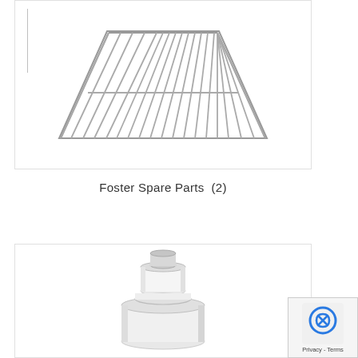[Figure (photo): Wire grid/rack shelf shown in perspective view — a rectangular metal wire rack with multiple parallel wires and two horizontal crossbars, appearing to be a refrigerator or cooling unit shelf.]
Foster Spare Parts  (2)
[Figure (photo): Close-up photo of a white plastic pipe fitting or drain plug component — cylindrical with a flanged base and a smaller cylindrical top with an open center, likely a spare part for a Foster refrigeration unit.]
[Figure (logo): Privacy badge with blue recycling/cookie icon and text 'Privacy - Terms']